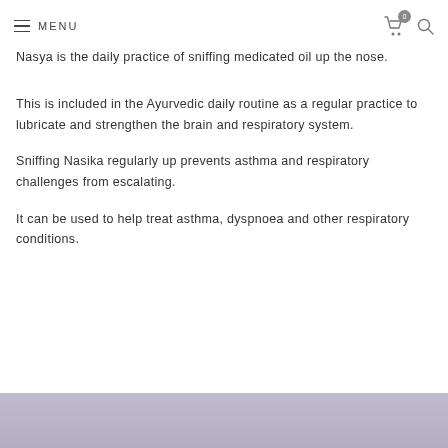MENU | cart (0) | search
Nasya is the daily practice of sniffing medicated oil up the nose.
This is included in the Ayurvedic daily routine as a regular practice to lubricate and strengthen the brain and respiratory system.
Sniffing Nasika regularly up prevents asthma and respiratory challenges from escalating.
It can be used to help treat asthma, dyspnoea and other respiratory conditions.
[Figure (photo): Partial image visible at bottom of page with muted purple/mauve tones]